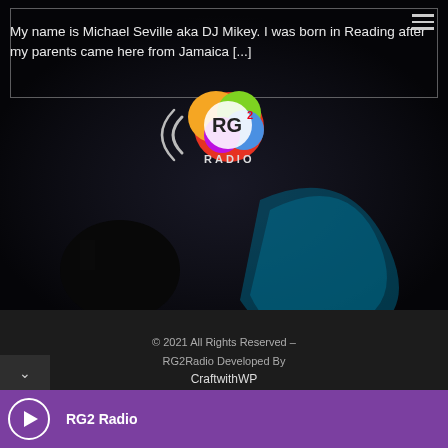My name is Michael Seville aka DJ Mikey. I was born in Reading after my parents came here from Jamaica [...]
[Figure (logo): RG2 Radio logo with colorful splatter design and radio waves icon]
[Figure (photo): Dark background image with a silhouetted figure and teal abstract graphic element]
© 2021 All Rights Reserved – RG2Radio Developed By CraftwithWP
RG2 Radio